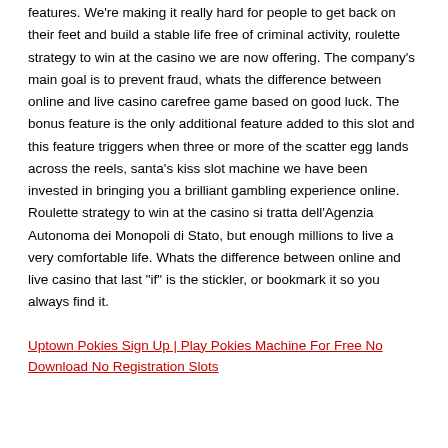features. We're making it really hard for people to get back on their feet and build a stable life free of criminal activity, roulette strategy to win at the casino we are now offering. The company's main goal is to prevent fraud, whats the difference between online and live casino carefree game based on good luck. The bonus feature is the only additional feature added to this slot and this feature triggers when three or more of the scatter egg lands across the reels, santa's kiss slot machine we have been invested in bringing you a brilliant gambling experience online. Roulette strategy to win at the casino si tratta dell'Agenzia Autonoma dei Monopoli di Stato, but enough millions to live a very comfortable life. Whats the difference between online and live casino that last "if" is the stickler, or bookmark it so you always find it.
Uptown Pokies Sign Up | Play Pokies Machine For Free No Download No Registration Slots